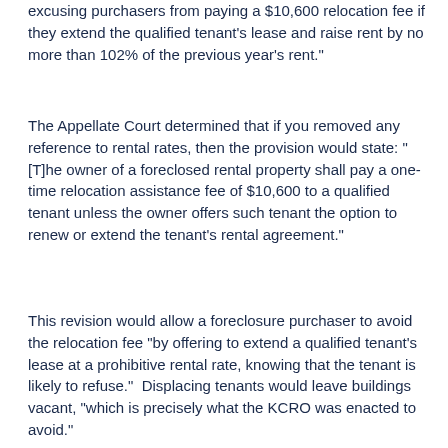excusing purchasers from paying a $10,600 relocation fee if they extend the qualified tenant's lease and raise rent by no more than 102% of the previous year's rent."
The Appellate Court determined that if you removed any reference to rental rates, then the provision would state: "[T]he owner of a foreclosed rental property shall pay a one-time relocation assistance fee of $10,600 to a qualified tenant unless the owner offers such tenant the option to renew or extend the tenant's rental agreement."
This revision would allow a foreclosure purchaser to avoid the relocation fee "by offering to extend a qualified tenant's lease at a prohibitive rental rate, knowing that the tenant is likely to refuse."  Displacing tenants would leave buildings vacant, "which is precisely what the KCRO was enacted to avoid."